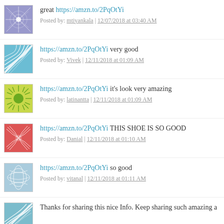great https://amzn.to/2PqOtYi
Posted by: mtiyankala | 12/07/2018 at 03:40 AM
https://amzn.to/2PqOtYi very good
Posted by: Vivek | 12/11/2018 at 01:09 AM
https://amzn.to/2PqOtYi it's look very amazing
Posted by: latinantta | 12/11/2018 at 01:09 AM
https://amzn.to/2PqOtYi THIS SHOE IS SO GOOD
Posted by: Danial | 12/11/2018 at 01:10 AM
https://amzn.to/2PqOtYi so good
Posted by: vitanal | 12/11/2018 at 01:11 AM
Thanks for sharing this nice Info. Keep sharing such amazing a...